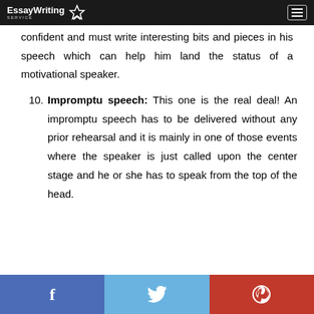EssayWriting SERVICE
confident and must write interesting bits and pieces in his speech which can help him land the status of a motivational speaker.
10. Impromptu speech: This one is the real deal! An impromptu speech has to be delivered without any prior rehearsal and it is mainly in one of those events where the speaker is just called upon the center stage and he or she has to speak from the top of the head.
Social share bar: Facebook, Twitter, Pinterest